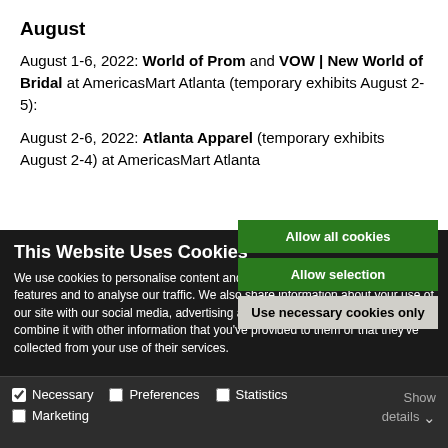August
August 1-6, 2022: World of Prom and VOW | New World of Bridal at AmericasMart Atlanta (temporary exhibits August 2-5):
August 2-6, 2022: Atlanta Apparel (temporary exhibits August 2-4) at AmericasMart Atlanta
This Website Uses Cookies
We use cookies to personalise content and ads, to provide social media features and to analyse our traffic. We also share information about your use of our site with our social media, advertising and analytics partners who may combine it with other information that you've provided to them or that they've collected from your use of their services.
Allow all cookies
Allow selection
Use necessary cookies only
Necessary  Preferences  Statistics  Marketing  Show details